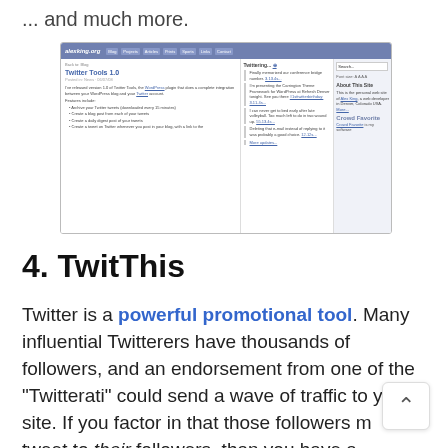... and much more.
[Figure (screenshot): Screenshot of alexking.org website showing the Twitter Tools 1.0 blog post with navigation bar, blog content, Twitter feed, and sidebar with About This Site and Crowd Favorite sections.]
4. TwitThis
Twitter is a powerful promotional tool. Many influential Twitterers have thousands of followers, and an endorsement from one of the "Twitterati" could send a wave of traffic to your site. If you factor in that those followers might tweet to their followers, than you have a viral social marketing tool.